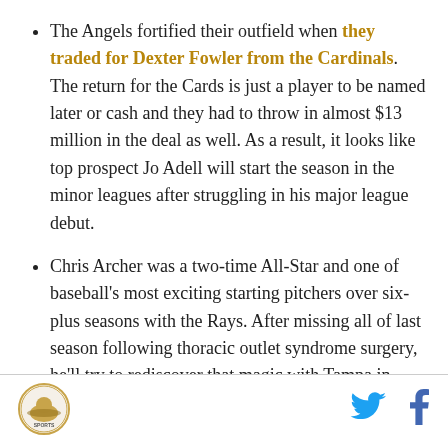The Angels fortified their outfield when they traded for Dexter Fowler from the Cardinals. The return for the Cards is just a player to be named later or cash and they had to throw in almost $13 million in the deal as well. As a result, it looks like top prospect Jo Adell will start the season in the minor leagues after struggling in his major league debut.
Chris Archer was a two-time All-Star and one of baseball's most exciting starting pitchers over six-plus seasons with the Rays. After missing all of last season following thoracic outlet syndrome surgery, he'll try to rediscover that magic with Tampa in 2021, as he signed a one-year, $6.5 million deal
[Figure (logo): Circular sports team logo in the footer]